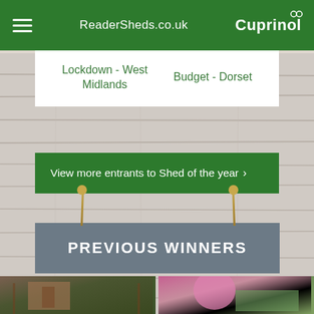ReaderSheds.co.uk | Cuprinol
Lockdown - West Midlands
Budget - Dorset
View more entrants to Shed of the year >
PREVIOUS WINNERS
[Figure (photo): Photo of a wooden garden shed with decorative plants]
[Figure (photo): Photo of a green garden shed with pink magnolia flowers in foreground]